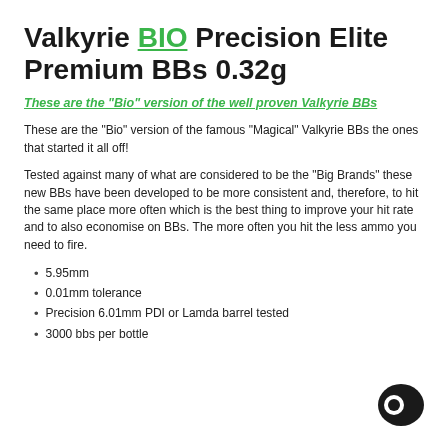Valkyrie BIO Precision Elite Premium BBs 0.32g
These are the "Bio" version of the well proven Valkyrie BBs
These are the "Bio" version of the famous "Magical" Valkyrie BBs the ones that started it all off!
Tested against many of what are considered to be the "Big Brands" these new BBs have been developed to be more consistent and, therefore, to hit the same place more often which is the best thing to improve your hit rate and to also economise on BBs. The more often you hit the less ammo you need to fire.
5.95mm
0.01mm tolerance
Precision 6.01mm PDI or Lamda barrel tested
3000 bbs per bottle
[Figure (logo): Dark circular chat bubble icon in bottom right corner]